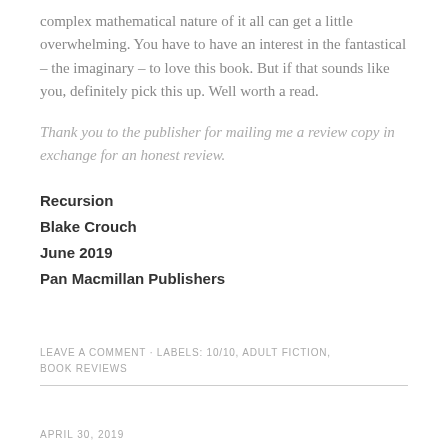complex mathematical nature of it all can get a little overwhelming. You have to have an interest in the fantastical – the imaginary – to love this book. But if that sounds like you, definitely pick this up. Well worth a read.
Thank you to the publisher for mailing me a review copy in exchange for an honest review.
Recursion
Blake Crouch
June 2019
Pan Macmillan Publishers
LEAVE A COMMENT · LABELS: 10/10, ADULT FICTION, BOOK REVIEWS
APRIL 30, 2019